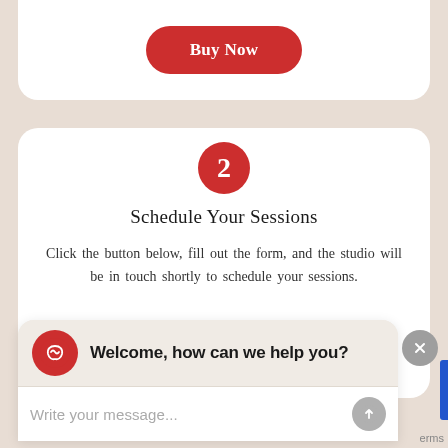[Figure (screenshot): Red 'Buy Now' button on white card background]
[Figure (infographic): Step 2 circle badge in red with white number 2]
Schedule Your Sessions
Click the button below, fill out the form, and the studio will be in touch shortly to schedule your sessions.
[Figure (screenshot): Chat widget overlay with avatar and welcome message. Shows 'Welcome, how can we help you?' and a message input field with placeholder 'Write your message...']